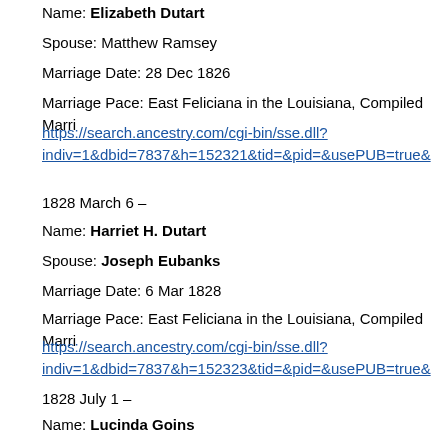Name: Elizabeth Dutart
Spouse: Matthew Ramsey
Marriage Date: 28 Dec 1826
Marriage Pace: East Feliciana in the Louisiana, Compiled Marri
https://search.ancestry.com/cgi-bin/sse.dll?
indiv=1&dbid=7837&h=152321&tid=&pid=&usePUB=true&
1828 March 6 –
Name: Harriet H. Dutart
Spouse: Joseph Eubanks
Marriage Date: 6 Mar 1828
Marriage Pace: East Feliciana in the Louisiana, Compiled Marri
https://search.ancestry.com/cgi-bin/sse.dll?
indiv=1&dbid=7837&h=152323&tid=&pid=&usePUB=true&
1828 July 1 –
Name: Lucinda Goins
Spouse: Darling B. Cason
Marriage Date: 1 Jul 1828